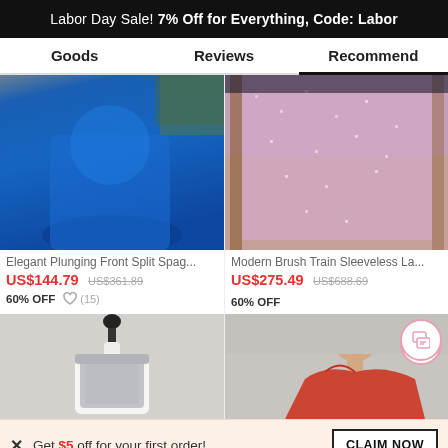Labor Day Sale! 7% Off for Everything, Code: Labor
Goods | Reviews | Recommend
[Figure (photo): Blue elegant gown with plunging front split spaghetti strap design]
Elegant Plunging Front Split Spag...
US$144.79  US$361.89  60% OFF  (15)
[Figure (photo): Pink/mauve sequin sleeveless dress displayed on hanger]
Modern Brush Train Sleeveless La...
US$275.49  US$688.69  60% OFF
[Figure (photo): Halter neck dress on mannequin with sequin detail]
[Figure (photo): Woman wearing red off-shoulder dress]
Get $5 off for your first order!
CLAIM NOW
ADD TO BAG  24